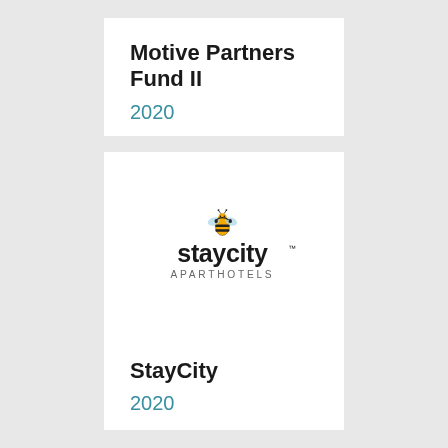Motive Partners Fund II
2020
[Figure (logo): Staycity Aparthotels logo: bee mascot above stylized 'staycity' wordmark in black bold font, 'APARTHOTELS' subtitle in spaced gray capitals]
StayCity
2020